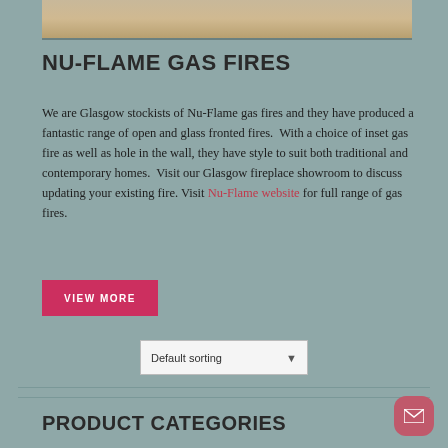[Figure (photo): Partial photo strip showing a wooden surface or fireplace surround at the top of the page]
NU-FLAME GAS FIRES
We are Glasgow stockists of Nu-Flame gas fires and they have produced a fantastic range of open and glass fronted fires.  With a choice of inset gas fire as well as hole in the wall, they have style to suit both traditional and contemporary homes.  Visit our Glasgow fireplace showroom to discuss updating your existing fire. Visit Nu-Flame website for full range of gas fires.
VIEW MORE
Default sorting
PRODUCT CATEGORIES